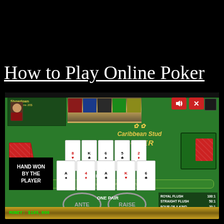How to Play Online Poker
[Figure (screenshot): Screenshot of Caribbean Stud Poker online game showing a green felt table with dealer cards (No Hand), player cards (One Pair), ANTE and RAISE buttons, payout table showing Royal Flush 100:1 through One Pair 1:1, HAND WON BY THE PLAYER text box, and MONEY: $105,000 at the bottom.]